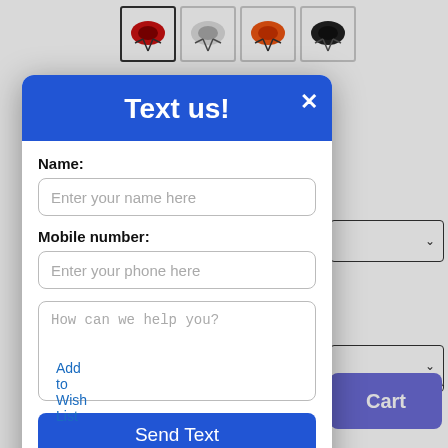[Figure (screenshot): Four bicycle helmet thumbnail images in a row at the top of the page, showing color variants: red/black, white/silver, orange/white, and black.]
[Figure (screenshot): A 'Text us!' popup modal with blue header, name field, mobile number field, message textarea, Send Text button, and 'We connect with Ikeono' footer. Background shows partial e-commerce product page with dropdown selectors and Add to Cart button.]
Add to Wish List